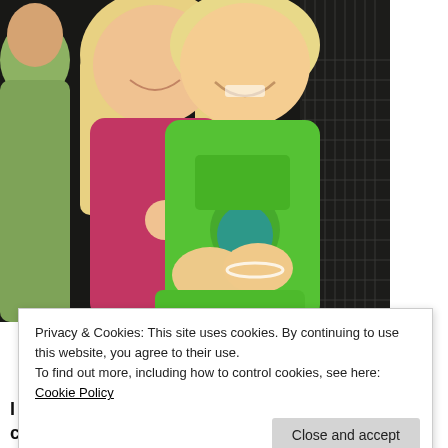[Figure (photo): Two smiling children hugging each other. A girl with long blonde hair on the left wearing a red/pink top, and a boy on the right wearing a bright green Teenage Mutant Ninja Turtles sleeveless shirt. The background appears dark with some equipment visible.]
Privacy & Cookies: This site uses cookies. By continuing to use this website, you agree to their use.
To find out more, including how to control cookies, see here: Cookie Policy
Close and accept
I think we are all aware of how important eye contact truly